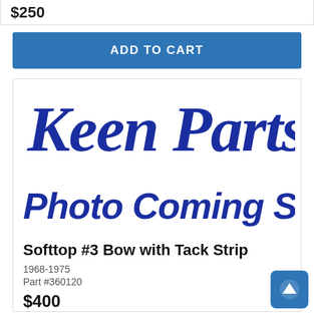$250
ADD TO CART
[Figure (logo): Keen Parts cursive script logo in dark blue]
[Figure (illustration): Photo Coming Soon! text in bold blue italic]
Softtop #3 Bow with Tack Strip
1968-1975
Part #360120
$400